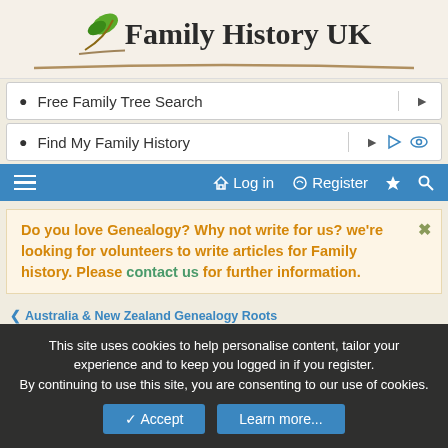[Figure (logo): Family History UK logo with green leaf and brown branch underline]
Free Family Tree Search
Find My Family History
Log in  Register
Do you love Genealogy? Why not write for us? we're looking for volunteers to write articles for Family history. Please contact us for further information.
< Australia & New Zealand Genealogy Roots
This site uses cookies to help personalise content, tailor your experience and to keep you logged in if you register. By continuing to use this site, you are consenting to our use of cookies.
Accept  Learn more...